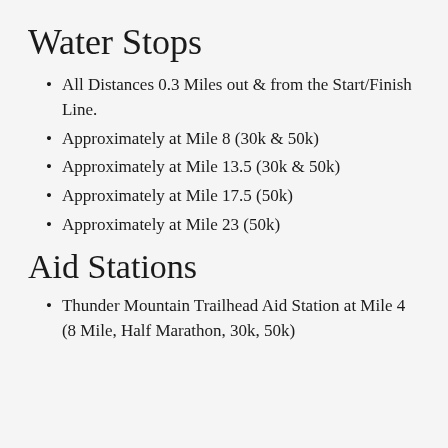Water Stops
All Distances 0.3 Miles out & from the Start/Finish Line.
Approximately at Mile 8 (30k & 50k)
Approximately at Mile 13.5 (30k & 50k)
Approximately at Mile 17.5 (50k)
Approximately at Mile 23 (50k)
Aid Stations
Thunder Mountain Trailhead Aid Station at Mile 4 (8 Mile, Half Marathon, 30k, 50k)